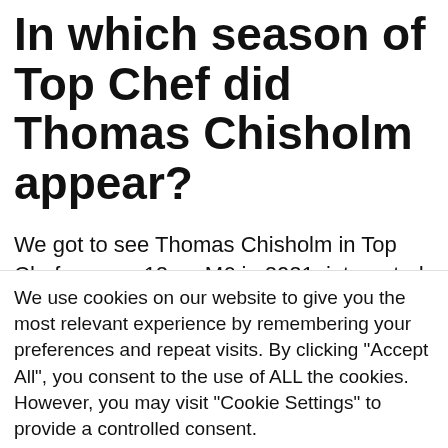In which season of Top Chef did Thomas Chisholm appear?
We got to see Thomas Chisholm in Top Chef season 12 on M6 in 2021, integrated into Michel Sarran's yellow brigade by making a "pumpkin pie at 3am and his glass of milk" for the first breakfast event... He will then
We use cookies on our website to give you the most relevant experience by remembering your preferences and repeat visits. By clicking "Accept All", you consent to the use of ALL the cookies. However, you may visit "Cookie Settings" to provide a controlled consent.